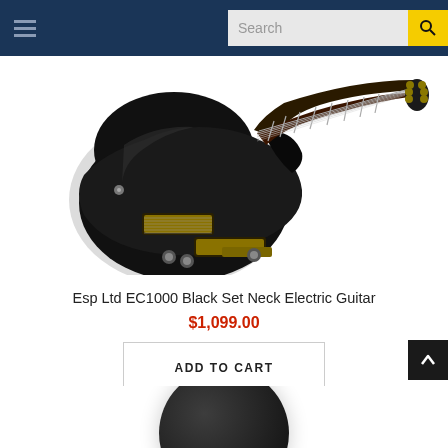Navigation header with hamburger menu and search bar
[Figure (photo): ESP Ltd EC1000 Black Set Neck Electric Guitar product photo. A black single-cutaway electric guitar with gold hardware, visible pickups, and a long neck with fretboard inlays, photographed on a white background.]
Esp Ltd EC1000 Black Set Neck Electric Guitar
$1,099.00
ADD TO CART
[Figure (photo): Partial view of a second guitar product (dark/black body) visible at the bottom of the page, partially cropped.]